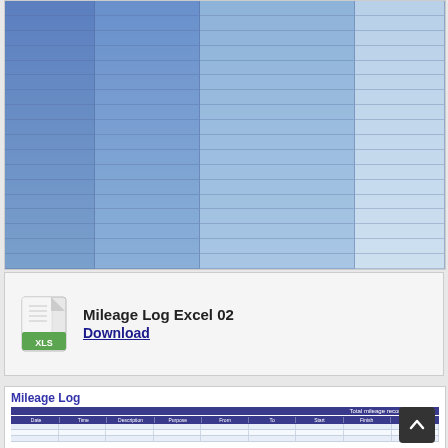[Figure (screenshot): Spreadsheet preview showing a mileage log Excel template with blue gradient columns and rows.]
Mileage Log Excel 02
Download
[Figure (screenshot): Mileage Log template preview showing title 'Mileage Log', total mileage recorded: 543.2, and table headers: Date, Time, Description, Purpose, From, To, Odometer Start, Odometer Finish, Mileage.]